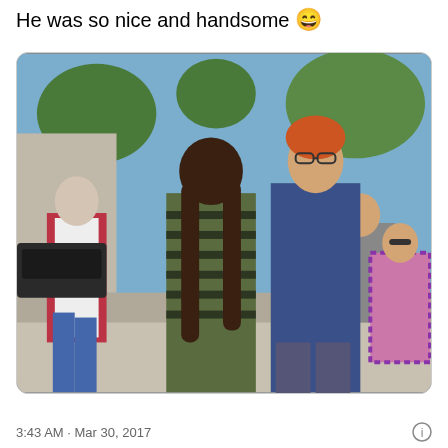He was so nice and handsome 😄
[Figure (photo): Outdoor street photo showing several people. A young woman with long brown hair wearing a green striped cardigan is facing away from the camera toward a tall man with reddish-orange hair, glasses, and a blue blazer. To the left is a younger girl in a white shirt and maroon cardigan with blue jeans. On the right background is a man in a grey shirt and a woman in a plaid shirt wearing sunglasses. Trees and a street scene are visible in the background.]
3:43 AM · Mar 30, 2017